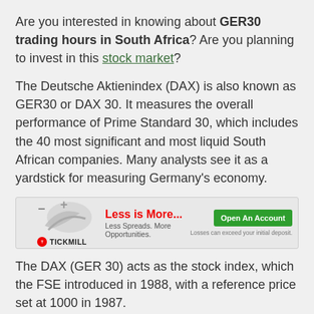Are you interested in knowing about GER30 trading hours in South Africa? Are you planning to invest in this stock market?
The Deutsche Aktienindex (DAX) is also known as GER30 or DAX 30. It measures the overall performance of Prime Standard 30, which includes the 40 most significant and most liquid South African companies. Many analysts see it as a yardstick for measuring Germany's economy.
[Figure (infographic): Tickmill advertisement banner: logo with red circle and 'TICKMILL' text, decorative swish graphic, red bold text 'Less is More...' and smaller text 'Less Spreads. More Opportunities.', green 'Open An Account' button, and disclaimer 'Losses can exceed your initial deposit.']
The DAX (GER 30) acts as the stock index, which the FSE introduced in 1988, with a reference price set at 1000 in 1987.